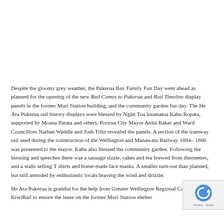Despite the gloomy grey weather, the Pukerua Bay Family Fun Day went ahead as planned for the opening of the new Rail Comes to Pukerua and Rail Timeline display panels in the former Muri Station building, and the community garden fun day. The He Ara Pukerua rail history displays were blessed by Ngāti Toa kaumatua Kahu Ropata, supported by Moana Parata and others. Porirua City Mayor Anita Baker and Ward Councillors Nathan Waddle and Josh Trlin revealed the panels. A section of the tramway rail used during the construction of the Wellington and Manawatu Railway 1884–1886 was presented to the mayor. Kahu also blessed the community garden. Following the blessing and speeches there was a sausage sizzle, cakes and tea brewed from thermettes, and a stalls selling T shirts and home-made face masks. A smaller turn-out than planned, but still attended by enthusiastic locals braving the wind and drizzle.
He Ara Pukerua is grateful for the help from Greater Wellington Regional Council and KiwiRail to ensure the lease on the former Muri Station shelter...